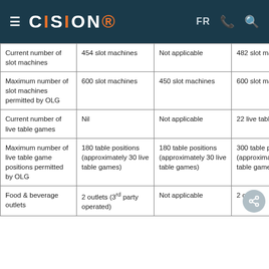CISION  FR
| Current number of slot machines | 454 slot machines | Not applicable | 482 slot machines |
| Maximum number of slot machines permitted by OLG | 600 slot machines | 450 slot machines | 600 slot machines |
| Current number of live table games | Nil | Not applicable | 22 live table games |
| Maximum number of live table game positions permitted by OLG | 180 table positions (approximately 30 live table games) | 180 table positions (approximately 30 live table games) | 300 table positions (approximately 50 live table games) |
| Food & beverage outlets | 2 outlets (3rd party operated) | Not applicable | 2 outlets |